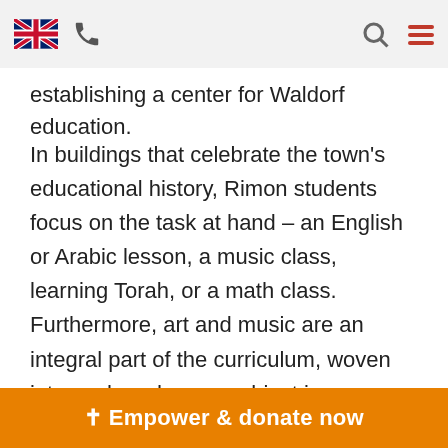[Navigation bar with UK flag, phone icon, search icon, and menu icon]
establishing a center for Waldorf education.
In buildings that celebrate the town's educational history, Rimon students focus on the task at hand – an English or Arabic lesson, a music class, learning Torah, or a math class. Furthermore, art and music are an integral part of the curriculum, woven into each and every subject in a way that embodies the core of Waldorf education and inspires an appreciation for beauty that accompanies the students throughout their lives.
As Rimon...
✝ Empower & donate now